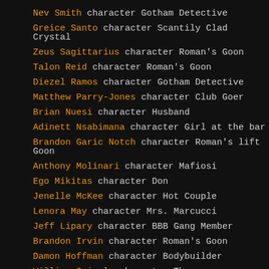Nev Smith character Gotham Detective
Greice Santo character Scantily Clad Crystal
Zeus Sagittarius character Roman's Goon
Talon Reid character Roman's Goon
Diezel Ramos character Gotham Detective
Matthew Parry-Jones character Club Goer
Brian Nuesi character Husband
Adinett Nsabimana character Girl at the bar
Brandon Garic Notch character Roman's lift Goon
Anthony Molinari character Mafiosi
Ego Mikitas character Don
Jenelle McKee character Hot Couple
Lenora May character Mrs. Marcucci
Jeff Lipary character BBB Gang Member
Brandon Irvin character Roman's Goon
Damon Hoffman character Bodybuilder
William Guirola character Thug